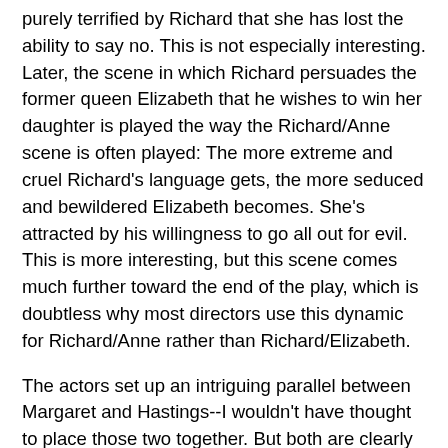purely terrified by Richard that she has lost the ability to say no. This is not especially interesting. Later, the scene in which Richard persuades the former queen Elizabeth that he wishes to win her daughter is played the way the Richard/Anne scene is often played: The more extreme and cruel Richard's language gets, the more seduced and bewildered Elizabeth becomes. She's attracted by his willingness to go all out for evil. This is more interesting, but this scene comes much further toward the end of the play, which is doubtless why most directors use this dynamic for Richard/Anne rather than Richard/Elizabeth.
The actors set up an intriguing parallel between Margaret and Hastings--I wouldn't have thought to place those two together. But both are clearly thrilled by the misfortunes that befall their enemies. Hastings is played by David Sabin, who has a moment that's both totally endearing and chilling: Contemplating the murders of his political enemies, he gets the beaming innocent look of a well-fed baby, and actually puts out his tongue like a happy dog as he giggles a little to himself. And the production definitely sets up Margaret as the only worthy opponent Richard recognizes. When they